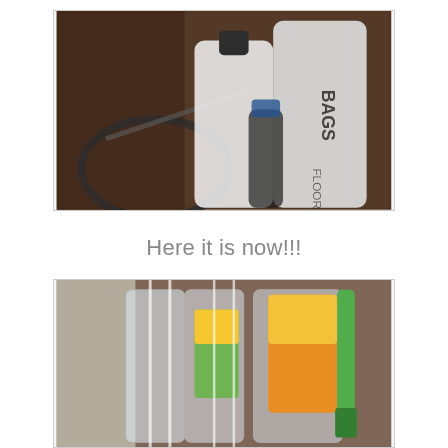[Figure (photo): A blurry, slightly rotated close-up photo of cleaning product bottles and containers stored under a sink or in a cabinet. The bottles are white plastic with labels; one reads 'BAGS' and another appears to say 'FLOOR'. A dark cord or hose is visible on the left.]
Here it is now!!!
[Figure (photo): A blurry close-up photo of cleaning products or household items stored in a cabinet or under a sink, with clear containers/bins visible. Products include items with green and orange labeling; a green brush handle is visible. White cords or cables hang in front.]